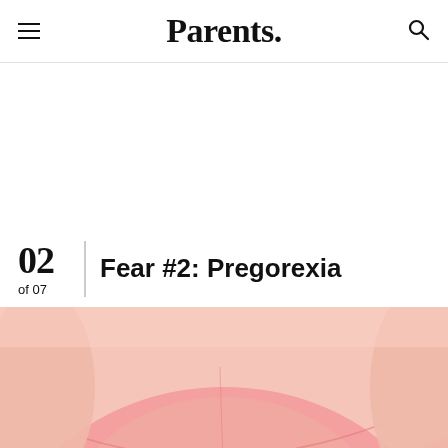Parents.
02 of 07 Fear #2: Pregorexia
[Figure (photo): Close-up of a pregnant woman's belly in a pink maternity top/dress, showing the fitted fabric around the bump.]